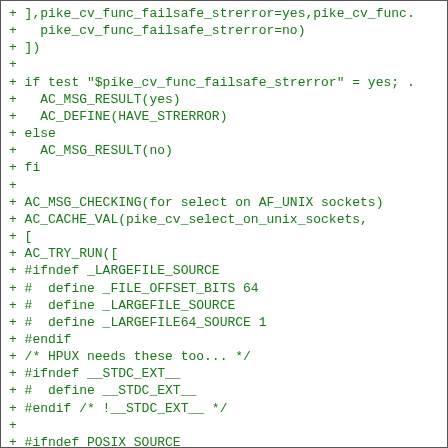[Figure (screenshot): Code diff snippet showing shell/autoconf script additions in green, including pike_cv_func_failsafe_strerror checks, AC_MSG_CHECKING for AF_UNIX sockets, AC_CACHE_VAL, AC_TRY_RUN, preprocessor defines for LARGEFILE, STDC_EXT, POSIX_SOURCE, and includes for stdio.h and sys/types.h]